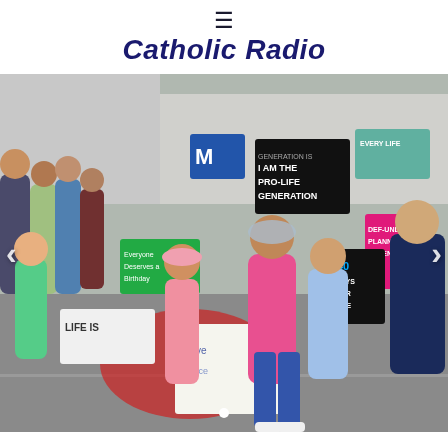≡ Catholic Radio
[Figure (photo): A pro-life march with a crowd of people, including children and adults, carrying signs that read 'I AM THE PRO-LIFE GENERATION', '40 DAYS FOR LIFE', 'DEF-UND PLANNED PARENTHOOD', 'Everyone Deserves a Birthday', 'LIFE IS...'. People are dressed casually, many in pink. Navigation arrows on left and right, and a dot/slideshow indicator at bottom.]